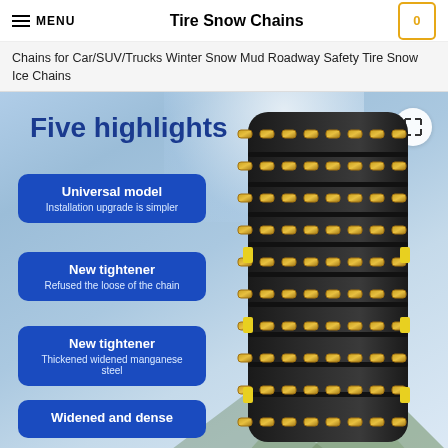MENU | Tire Snow Chains | 0
Chains for Car/SUV/Trucks Winter Snow Mud Roadway Safety Tire Snow Ice Chains
[Figure (photo): Product promotional image showing tire snow chains wrapped around a black tire. Blue background with snow-capped mountains. Text overlay reads 'Five highlights' in bold blue. Four blue rounded-rectangle feature boxes on the left: 1) 'Universal model - Installation upgrade is simpler', 2) 'New tightener - Refused the loose of the chain', 3) 'New tightener - Thickened widened manganese steel', 4) 'Widened and dense'. A circular expand/fullscreen button is in the top-right corner.]